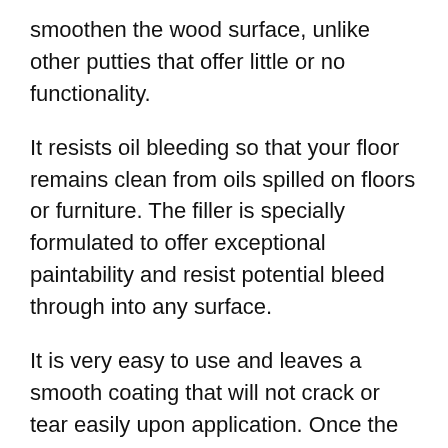smoothen the wood surface, unlike other putties that offer little or no functionality.
It resists oil bleeding so that your floor remains clean from oils spilled on floors or furniture. The filler is specially formulated to offer exceptional paintability and resist potential bleed through into any surface.
It is very easy to use and leaves a smooth coating that will not crack or tear easily upon application. Once the filler has dried, you can paint it to match the surface. It is easy to apply and won't shrink or crack over time.
It is easy to use and simple. It's affordable and comes